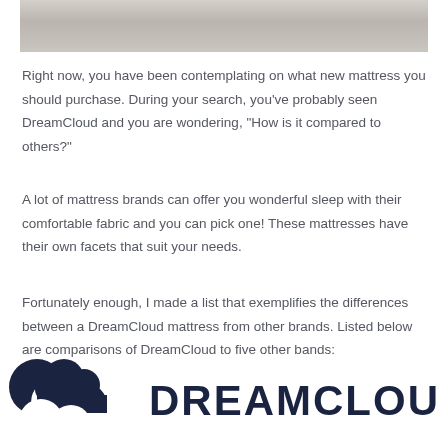[Figure (photo): Partial photo of white bedding/mattress at the top of the page]
Right now, you have been contemplating on what new mattress you should purchase. During your search, you've probably seen DreamCloud and you are wondering, “How is it compared to others?”
A lot of mattress brands can offer you wonderful sleep with their comfortable fabric and you can pick one! These mattresses have their own facets that suit your needs.
Fortunately enough, I made a list that exemplifies the differences between a DreamCloud mattress from other brands. Listed below are comparisons of DreamCloud to five other bands:
[Figure (logo): DreamCloud logo: cloud icon in dark navy blue with DREAMCLOUD text in bold dark navy]